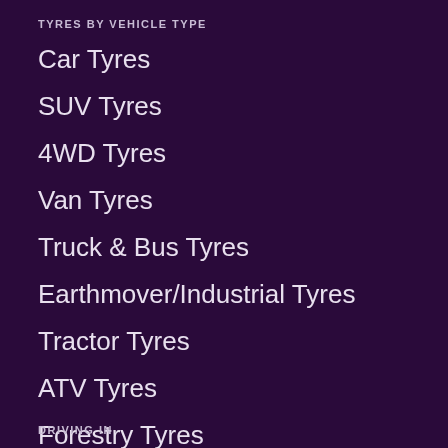TYRES BY VEHICLE TYPE
Car Tyres
SUV Tyres
4WD Tyres
Van Tyres
Truck & Bus Tyres
Earthmover/Industrial Tyres
Tractor Tyres
ATV Tyres
Forestry Tyres
Implement Tyres
DRIVING IN